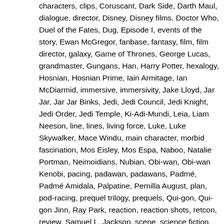characters, clips, Coruscant, Dark Side, Darth Maul, dialogue, director, Disney, Disney films, Doctor Who, Duel of the Fates, Dug, Episode I, events of the story, Ewan McGregor, fanbase, fantasy, film, film director, galaxy, Game of Thrones, George Lucas, grandmaster, Gungans, Han, Harry Potter, hexalogy, Hosnian, Hosnian Prime, Iain Armitage, Ian McDiarmid, immersive, immersivity, Jake Lloyd, Jar Jar, Jar Jar Binks, Jedi, Jedi Council, Jedi Knight, Jedi Order, Jedi Temple, Ki-Adi-Mundi, Leia, Liam Neeson, line, lines, living force, Luke, Luke Skywalker, Mace Windu, main character, morbid fascination, Mos Eisley, Mos Espa, Naboo, Natalie Portman, Neimoidians, Nubian, Obi-wan, Obi-wan Kenobi, pacing, padawan, padawans, Padmé, Padmé Amidala, Palpatine, Pernilla August, plan, pod-racing, prequel trilogy, prequels, Qui-gon, Qui-gon Jinn, Ray Park, reaction, reaction shots, retcon, review, Samuel L. Jackson, scene, science fiction, Sebulba, Shmi Skywalker, Sith, Skywalker, speeders, Star Trek, Star Wars, Tatooine, The Chosen One, the Dark Side of the Force, The Force Awakens, The Last Jedi, The Lord Of The Rings, The Mandalorian, The Phantom Menace, The Rise of Skywalker, the Sith, Toydarians, Trade Federation, trilogy